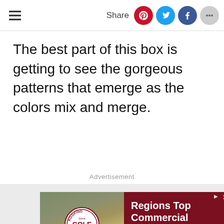Share
The best part of this box is getting to see the gorgeous patterns that emerge as the colors mix and merge.
Advertisement
[Figure (photo): Advertisement banner for Cole Roofing Company: aerial photo of a commercial building on the left, dark red background on the right with text 'Regions Top Commercial Roofing Expert' and 'Roof Servicing' at the bottom in a white bar.]